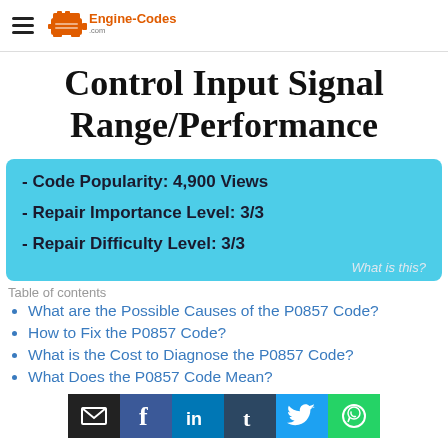Engine-Codes.com
Control Input Signal Range/Performance
- Code Popularity: 4,900 Views
- Repair Importance Level: 3/3
- Repair Difficulty Level: 3/3
What is this?
Table of contents
What are the Possible Causes of the P0857 Code?
How to Fix the P0857 Code?
What is the Cost to Diagnose the P0857 Code?
What Does the P0857 Code Mean?
[Figure (infographic): Social sharing icons bar: email (dark), Facebook (blue), LinkedIn (blue), Tumblr (navy), Twitter (light blue), WhatsApp (green)]